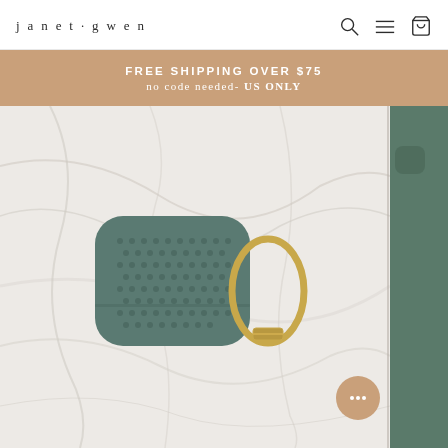janet-gwen
FREE SHIPPING OVER $75
no code needed- US ONLY
[Figure (photo): Product photo of a teal/dark green perforated silicone AirPods case with a gold carabiner clip, displayed on a marble surface. A partial second image is visible on the right edge showing a dark green object.]